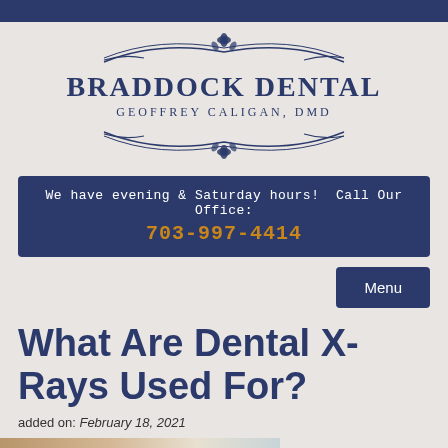[Figure (logo): Braddock Dental logo with ornamental flourishes, name 'BRADDOCK DENTAL' and subtitle 'GEOFFREY CALIGAN, DMD']
We have evening & Saturday hours!  Call Our Office: 703-997-4414
Menu
What Are Dental X-Rays Used For?
added on: February 18, 2021
[Figure (photo): Partial view of a dental-related photo at the bottom of the page]